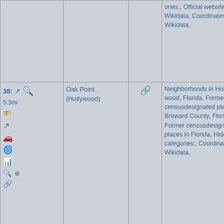| Controls | Name | Link | Categories |
| --- | --- | --- | --- |
| (partial top row visible) | (partial) | (partial) | ones:, Official website not in Wikidata, Coordinates on Wikidata, |
| 38: 5.3mi [icons] | Oak Point (Hollywood) | [link icon] | Neighborhoods in Hollywood, Florida, Former census-designated places in Broward County, Florida, Former census-designated places in Florida, Hidden categories:, Coordinates on Wikidata, |